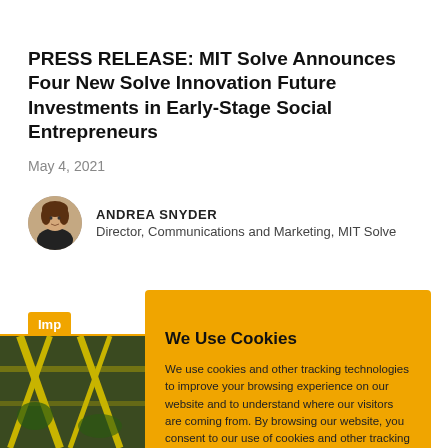PRESS RELEASE: MIT Solve Announces Four New Solve Innovation Future Investments in Early-Stage Social Entrepreneurs
May 4, 2021
ANDREA SNYDER
Director, Communications and Marketing, MIT Solve
Imp
[Figure (photo): Partial view of a building with yellow structural elements, partially obscured by cookie consent overlay]
We Use Cookies

We use cookies and other tracking technologies to improve your browsing experience on our website and to understand where our visitors are coming from. By browsing our website, you consent to our use of cookies and other tracking technologies.

ACCEPT   REJECT